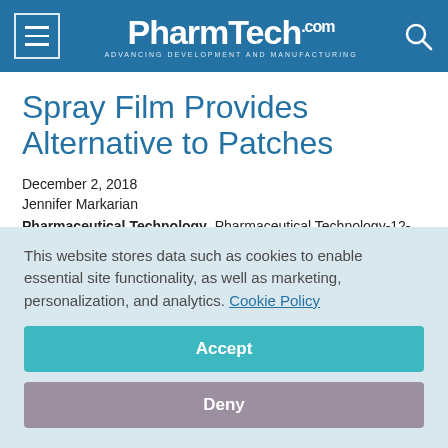PharmTech.com — Advancing Development and Manufacturing
Spray Film Provides Alternative to Patches
December 2, 2018
Jennifer Markarian
Pharmaceutical Technology, Pharmaceutical Technology-12-02-2018, Volume 42, Issue 12
Pages: 42
This website stores data such as cookies to enable essential site functionality, as well as marketing, personalization, and analytics. Cookie Policy
Accept
Deny